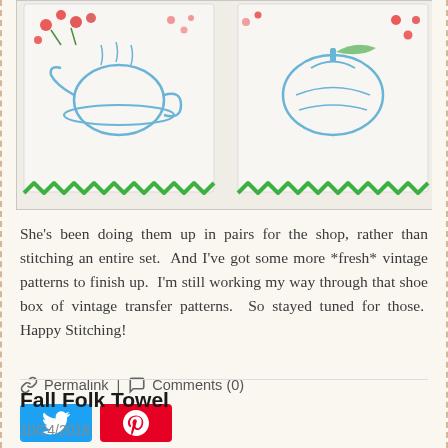[Figure (photo): Two embroidered hand towels with blue stitching designs, floral red embroidery accents, and green ric-rac trim along the bottom edge.]
She's been doing them up in pairs for the shop, rather than stitching an entire set.  And I've got some more *fresh* vintage patterns to finish up.  I'm still working my way through that shoe box of vintage transfer patterns.  So stayed tuned for those.  Happy Stitching!
🔗 Permalink | 💬 Comments (0)
[Figure (other): Twitter and Pinterest social share buttons]
Fall Folk Towel
10/24/2018